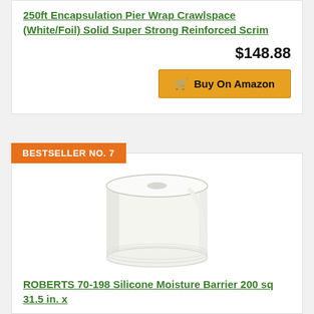250ft Encapsulation Pier Wrap Crawlspace (White/Foil) Solid Super Strong Reinforced Scrim
$148.88
Buy On Amazon
BESTSELLER NO. 7
[Figure (photo): A rolled white moisture barrier material product, shown as a cylindrical roll on a white background]
ROBERTS 70-198 Silicone Moisture Barrier 200 sq 31.5 in. x